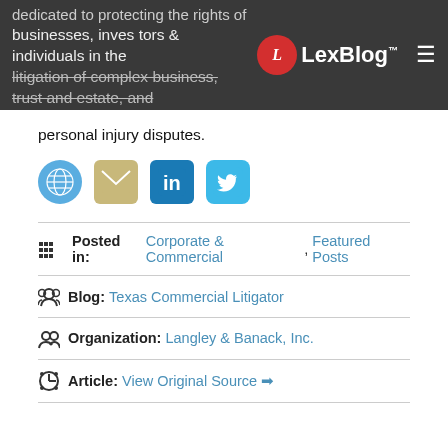LexBlog
dedicated to protecting the rights of businesses, investors, and individuals in the litigation of complex business, trust and estate, and personal injury disputes.
[Figure (infographic): Row of four social media icons: globe (website), envelope (email), LinkedIn, Twitter]
Posted in: Corporate & Commercial, Featured Posts
Blog: Texas Commercial Litigator
Organization: Langley & Banack, Inc.
Article: View Original Source →